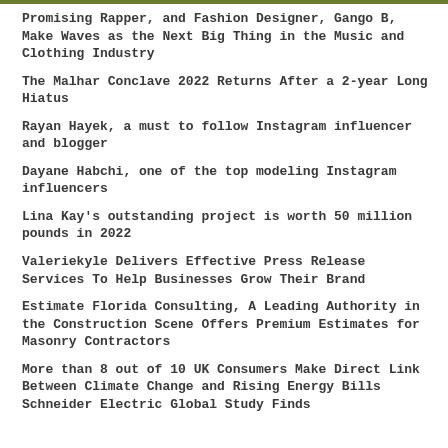Promising Rapper, and Fashion Designer, Gango B, Make Waves as the Next Big Thing in the Music and Clothing Industry
The Malhar Conclave 2022 Returns After a 2-year Long Hiatus
Rayan Hayek, a must to follow Instagram influencer and blogger
Dayane Habchi, one of the top modeling Instagram influencers
Lina Kay's outstanding project is worth 50 million pounds in 2022
Valeriekyle Delivers Effective Press Release Services To Help Businesses Grow Their Brand
Estimate Florida Consulting, A Leading Authority in the Construction Scene Offers Premium Estimates for Masonry Contractors
More than 8 out of 10 UK Consumers Make Direct Link Between Climate Change and Rising Energy Bills Schneider Electric Global Study Finds